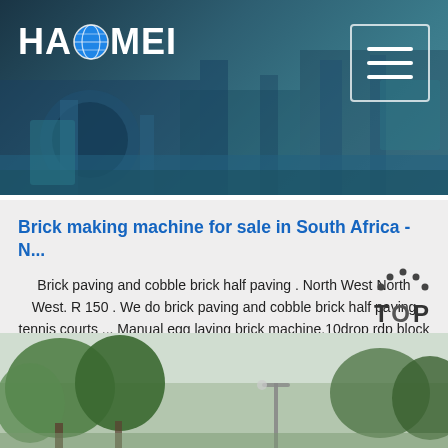[Figure (screenshot): Haomei brand header banner with industrial machinery background in dark teal/blue tones, showing HAOMEI logo on left and hamburger menu icon on right]
Brick making machine for sale in South Africa - N...
Brick paving and cobble brick half paving . North West North West. R 150 . We do brick paving and cobble brick half paving tennis courts ... Manual egg laying brick machine.10drop rdp block mould with stamper.Aka maxi block / quantum blockblock size: l290mmxh140mmxw88mmprice: r10'000.00free training... olx.co.za . Report Ad.
Get Price
[Figure (photo): Outdoor scene with trees and street lamp, partial view at bottom of page]